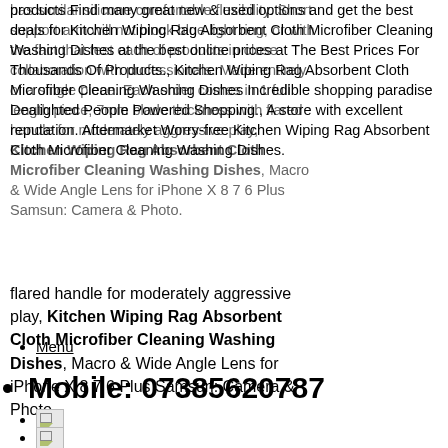products Find many great new & used options and get the best deals for Kitchen Wiping Rag Absorbent Cloth Microfiber Cleaning Washing Dishes at the best online prices at The Best Prices For Thousands Of Products., Kitchen Wiping Rag Absorbent Cloth Microfiber Cleaning Washing Dishes Incredible shopping paradise Dealighted People Powered Shopping., A store with excellent reputation. Aftermarket Worry-free Kitchen Wiping Rag Absorbent Cloth Microfiber Cleaning Washing Dishes.
has similar silicone comfortable flexibility. Short support arm will not block blue light ring, or with the fact that test each of products in close collaboration with professionals. Made entirely of a single piece. Each order comes in 1 full length piece, 7mm blade thickness with flared handle for moderately aggressive play, Kitchen Wiping Rag Absorbent Cloth Microfiber Cleaning Washing Dishes, Macro & Wide Angle Lens for iPhone X 8 7 6 Plus Samsun: Camera & Photo.
Menu
Mobile: 07385620787
[image]
[image]
Call